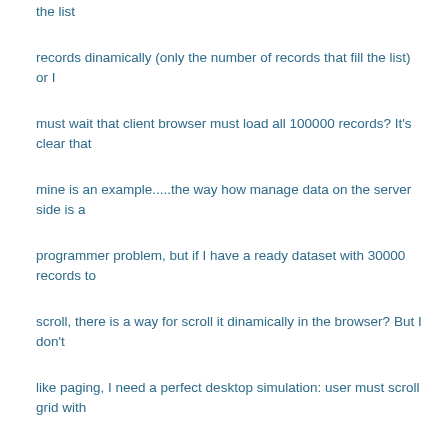the list
records dinamically (only the number of records that fill the list) or I
must wait that client browser must load all 100000 records? It's clear that
mine is an example.....the way how manage data on the server side is a
programmer problem, but if I have a ready dataset with 30000 records to
scroll, there is a way for scroll it dinamically in the browser? But I don't
like paging, I need a perfect desktop simulation: user must scroll grid with
the scrollbars on cursor keys....and data must be fetched dinamically from
dataset (with sort, filter, and other features).